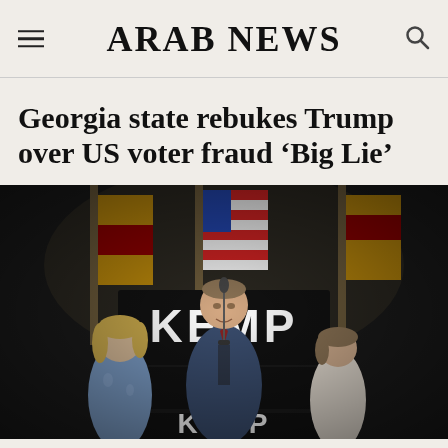ARAB NEWS
Georgia state rebukes Trump over US voter fraud ‘Big Lie’
[Figure (photo): A man in a blue suit with a red tie speaks at a podium with a 'KEMP' campaign sign. Two women stand behind him on either side, with American and Georgia state flags in the background. The setting appears to be a campaign victory or election night event.]